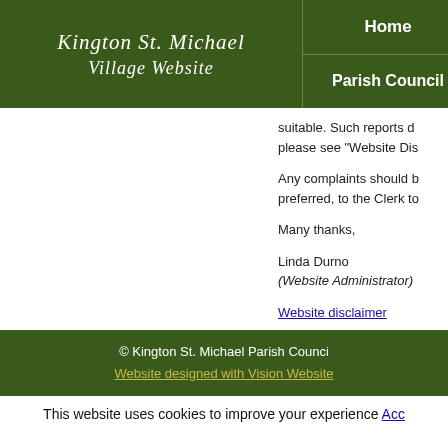Kington St. Michael Village Website | Home | Parish Council
suitable. Such reports d... please see "Website Dis...
Any complaints should b... preferred, to the Clerk to...
Many thanks,
Linda Durno
(Website Administrator)
Website disclaimer
© Kington St. Michael Parish Counci...
Website designed with Vision Website...
This website uses cookies to improve your experience Acc...